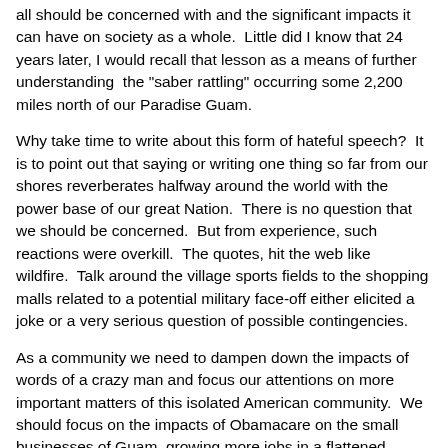all should be concerned with and the significant impacts it can have on society as a whole.  Little did I know that 24 years later, I would recall that lesson as a means of further understanding  the "saber rattling" occurring some 2,200 miles north of our Paradise Guam.
Why take time to write about this form of hateful speech?  It is to point out that saying or writing one thing so far from our shores reverberates halfway around the world with the power base of our great Nation.  There is no question that we should be concerned.  But from experience, such reactions were overkill.  The quotes, hit the web like wildfire.  Talk around the village sports fields to the shopping malls related to a potential military face-off either elicited a joke or a very serious question of possible contingencies.
As a community we need to dampen down the impacts of words of a crazy man and focus our attentions on more important matters of this isolated American community.  We should focus on the impacts of Obamacare on the small businesses of Guam, growing more jobs in a flattened economy and engage debate on laws that reduce-not